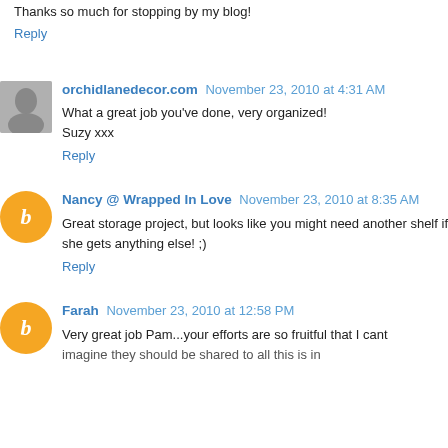Thanks so much for stopping by my blog!
Reply
orchidlanedecor.com  November 23, 2010 at 4:31 AM
What a great job you've done, very organized!
Suzy xxx
Reply
Nancy @ Wrapped In Love  November 23, 2010 at 8:35 AM
Great storage project, but looks like you might need another shelf if she gets anything else! ;)
Reply
Farah  November 23, 2010 at 12:58 PM
Very great job Pam...your efforts are so fruitful that I cant imagine they should be shared to all this is in